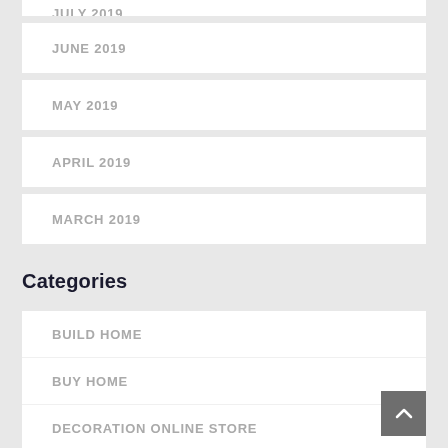JULY 2019
JUNE 2019
MAY 2019
APRIL 2019
MARCH 2019
Categories
BUILD HOME
BUY HOME
DECORATION ONLINE STORE